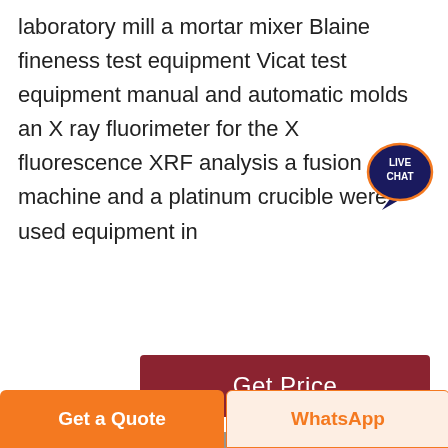laboratory mill a mortar mixer Blaine fineness test equipment Vicat test equipment manual and automatic molds an X ray fluorimeter for the X fluorescence XRF analysis a fusion machine and a platinum crucible were used equipment in
[Figure (other): Live Chat speech bubble icon with dark navy blue color and orange border, labeled LIVE CHAT in white text]
[Figure (other): Get Price button — dark red/maroon rectangular button with white text]
[Figure (photo): Industrial factory interior showing large milling/grinding equipment with yellow steel platforms, conveyors, and structural steel framework in a large warehouse building]
[Figure (other): Bottom navigation bar with orange 'Get a Quote' button on the left and light orange 'WhatsApp' button on the right]